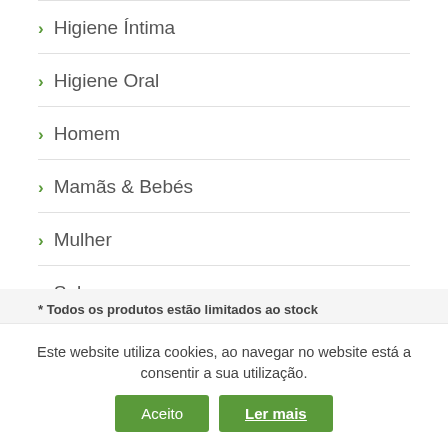> Higiene Íntima
> Higiene Oral
> Homem
> Mamãs & Bebés
> Mulher
> Solares
> Vitaminas
* Todos os produtos estão limitados ao stock
Este website utiliza cookies, ao navegar no website está a consentir a sua utilização.
Aceito | Ler mais